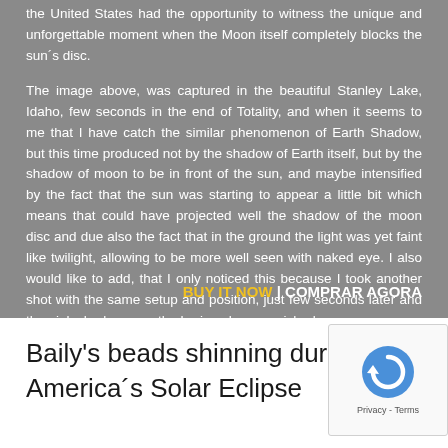the United States had the opportunity to witness the unique and unforgettable moment when the Moon itself completely blocks the sun´s disc.
The image above, was captured in the beautiful Stanley Lake, Idaho, few seconds in the end of Totality, and when it seems to me that I have catch the similar phenomenon of Earth Shadow, but this time produced not by the shadow of Earth itself, but by the shadow of moon to be in front of the sun, and maybe intensified by the fact that the sun was starting to appear a little bit which means that could have projected well the shadow of the moon disc and due also the fact that in the ground the light was yet faint like twilight, allowing to be more well seen with naked eye. I also would like to add, that I only noticed this because I took another shot with the same setup and position, just few seconds later and the pink shadow near the horizon have vanished.
BUY IT NOW | COMPRAR AGORA
Baily's beads shinning during America´s Solar Eclipse
[Figure (other): reCAPTCHA widget with circular arrow icon and Privacy - Terms links]